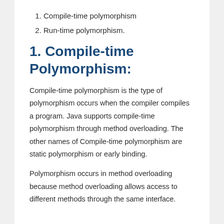1. Compile-time polymorphism
2. Run-time polymorphism.
1. Compile-time Polymorphism:
Compile-time polymorphism is the type of polymorphism occurs when the compiler compiles a program. Java supports compile-time polymorphism through method overloading. The other names of Compile-time polymorphism are static polymorphism or early binding.
Polymorphism occurs in method overloading because method overloading allows access to different methods through the same interface.